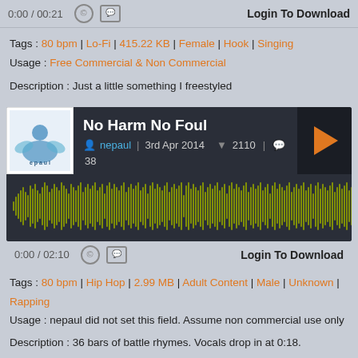0:00 / 00:21  ©  ☐  Login To Download
Tags : 80 bpm | Lo-Fi | 415.22 KB | Female | Hook | Singing
Usage : Free Commercial & Non Commercial
Description : Just a little something I freestyled
[Figure (other): Audio player card for 'No Harm No Foul' by nepaul, dated 3rd Apr 2014, with album art, play button, waveform, 2110 downloads, 38 comments]
0:00 / 02:10  ©  ☐  Login To Download
Tags : 80 bpm | Hip Hop | 2.99 MB | Adult Content | Male | Unknown | Rapping
Usage : nepaul did not set this field. Assume non commercial use only
Description : 36 bars of battle rhymes. Vocals drop in at 0:18.